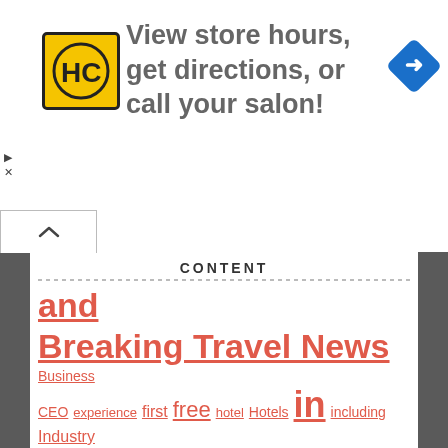[Figure (other): Advertisement banner: HC salon logo (black H and C letters in yellow square), text 'View store hours, get directions, or call your salon!', blue diamond navigation arrow icon. Skip/close controls on left.]
CONTENT
and Breaking Travel News Business CEO experience first free hotel Hotels in including Industry International International Travel News IT minister most New News articles only over People S said sandals The World through time to TO BE tourism Tours Transportation News Travel Travel & Tourism Travel Destination News